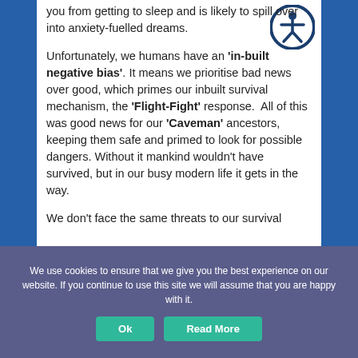you from getting to sleep and is likely to spill over into anxiety-fuelled dreams.
Unfortunately, we humans have an 'in-built negative bias'. It means we prioritise bad news over good, which primes our inbuilt survival mechanism, the 'Flight-Fight' response. All of this was good news for our 'Caveman' ancestors, keeping them safe and primed to look for possible dangers. Without it mankind wouldn't have survived, but in our busy modern life it gets in the way.
We don't face the same threats to our survival
[Figure (illustration): Accessibility icon — a circular badge with a dark blue border and white background containing a stylized person (universal accessibility symbol)]
We use cookies to ensure that we give you the best experience on our website. If you continue to use this site we will assume that you are happy with it.